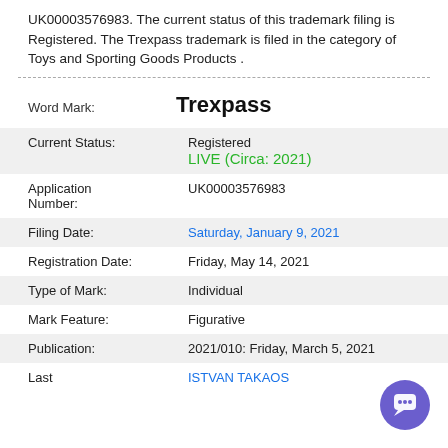UK00003576983. The current status of this trademark filing is Registered. The Trexpass trademark is filed in the category of Toys and Sporting Goods Products .
| Field | Value |
| --- | --- |
| Word Mark: | Trexpass |
| Current Status: | Registered
LIVE (Circa: 2021) |
| Application Number: | UK00003576983 |
| Filing Date: | Saturday, January 9, 2021 |
| Registration Date: | Friday, May 14, 2021 |
| Type of Mark: | Individual |
| Mark Feature: | Figurative |
| Publication: | 2021/010: Friday, March 5, 2021 |
| Last: | ISTVAN TAKAOS |